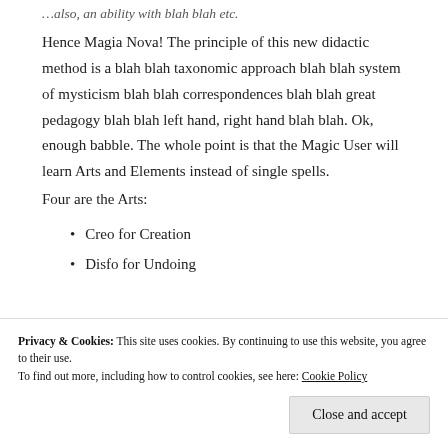Hence Magia Nova! The principle of this new didactic method is a blah blah taxonomic approach blah blah system of mysticism blah blah correspondences blah blah great pedagogy blah blah left hand, right hand blah blah. Ok, enough babble. The whole point is that the Magic User will learn Arts and Elements instead of single spells.
Four are the Arts:
Creo for Creation
Disfo for Undoing
Privacy & Cookies: This site uses cookies. By continuing to use this website, you agree to their use. To find out more, including how to control cookies, see here: Cookie Policy